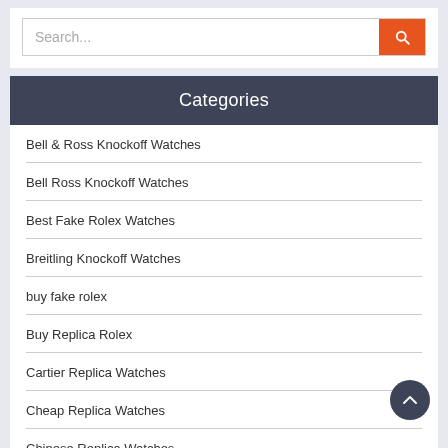[Figure (screenshot): Search input field with orange search button on the right]
Categories
Bell & Ross Knockoff Watches
Bell Ross Knockoff Watches
Best Fake Rolex Watches
Breitling Knockoff Watches
buy fake rolex
Buy Replica Rolex
Cartier Replica Watches
Cheap Replica Watches
Chinese Replica Watches
Default
Dhgate Best Rolex Replicas